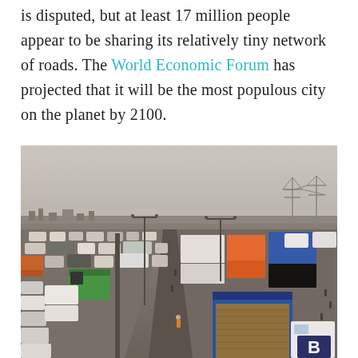is disputed, but at least 17 million people appear to be sharing its relatively tiny network of roads. The World Economic Forum has projected that it will be the most populous city on the planet by 2100.
[Figure (photo): Aerial view of a severely congested highway in Lagos, Nigeria, showing bumper-to-bumper traffic with trucks, buses, and cars. Large electricity transmission towers visible in the background right. Hazy, smoggy sky. A blue truck loaded with metal rods is visible in the foreground right, with a sign marked 'B'.]